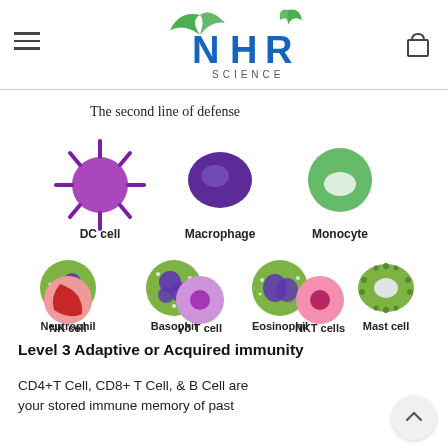[Figure (logo): NHR Science logo with green leaf elements and blue/teal text]
[Figure (infographic): Infographic showing second line of defense immune cells: DC cell (purple spiked), Macrophage (dark purple blob), Monocyte (green circle), Neutrophil (green with purple nucleus), Basophil (green with purple flower), Eosinophil (green with purple bi-lobe), Mast cell (green oval), NK cell (red crescent), gamma-delta T cell (purple circle), NKT cells (pink circle)]
Level 3 Adaptive or Acquired immunity
CD4+T Cell, CD8+ T Cell, & B Cell are your stored immune memory of past